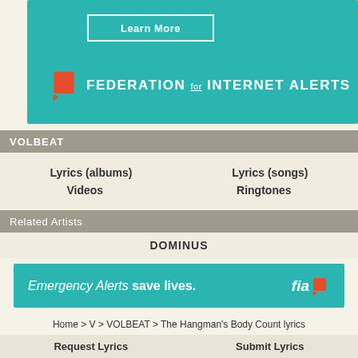[Figure (screenshot): Teal/turquoise banner advertisement with 'Learn More' button and Federation for Internet Alerts logo with red flag icon]
VOLBEAT
Lyrics (albums)   Lyrics (songs)
Videos   Ringtones
Related Artists
DOMINUS
[Figure (screenshot): Teal banner: 'Emergency Alerts save lives.' with fia logo and red square]
Home > V > VOLBEAT > The Hangman's Body Count lyrics
Request Lyrics   Submit Lyrics